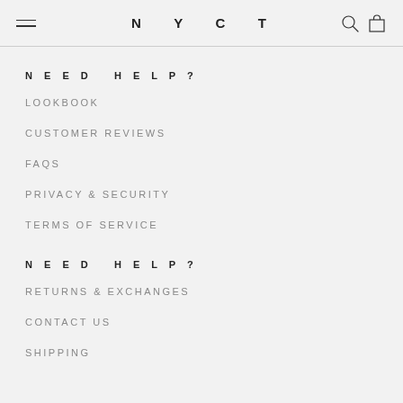NYCT
NEED HELP?
LOOKBOOK
CUSTOMER REVIEWS
FAQS
PRIVACY & SECURITY
TERMS OF SERVICE
NEED HELP?
RETURNS & EXCHANGES
CONTACT US
SHIPPING